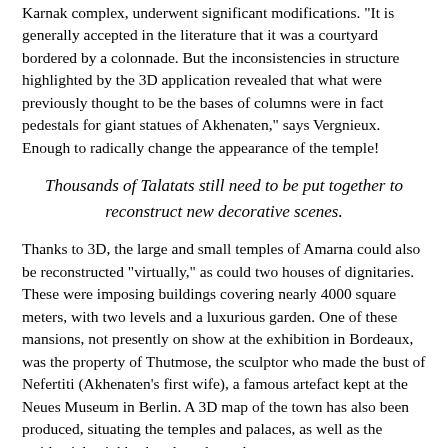Karnak complex, underwent significant modifications. "It is generally accepted in the literature that it was a courtyard bordered by a colonnade. But the inconsistencies in structure highlighted by the 3D application revealed that what were previously thought to be the bases of columns were in fact pedestals for giant statues of Akhenaten," says Vergnieux. Enough to radically change the appearance of the temple!
Thousands of Talatats still need to be put together to reconstruct new decorative scenes.
Thanks to 3D, the large and small temples of Amarna could also be reconstructed "virtually," as could two houses of dignitaries. These were imposing buildings covering nearly 4000 square meters, with two levels and a luxurious garden. One of these mansions, not presently on show at the exhibition in Bordeaux, was the property of Thutmose, the sculptor who made the bust of Nefertiti (Akhenaten's first wife), a famous artefact kept at the Neues Museum in Berlin. A 3D map of the town has also been produced, situating the temples and palaces, as well as the residential neighborhoods and warehouse areas.
The project is far from over though: another ten thousand Talatats, unearthed in the foundations of the 9th pylon at Karnak, need to be